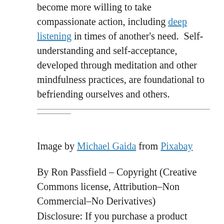become more willing to take compassionate action, including deep listening in times of another's need.  Self-understanding and self-acceptance, developed through meditation and other mindfulness practices, are foundational to befriending ourselves and others.
Image by Michael Gaida from Pixabay
By Ron Passfield – Copyright (Creative Commons license, Attribution–Non Commercial–No Derivatives)
Disclosure: If you purchase a product through